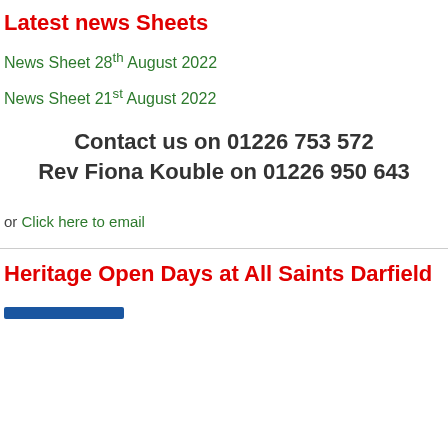Latest news Sheets
News Sheet 28th August 2022
News Sheet 21st August 2022
Contact us on 01226 753 572
Rev Fiona Kouble on 01226 950 643
or Click here to email
Heritage Open Days at All Saints Darfield